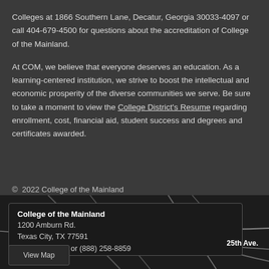Colleges at 1866 Southern Lane, Decatur, Georgia 30033-4097 or call 404-679-4500 for questions about the accreditation of College of the Mainland.
At COM, we believe that everyone deserves an education. As a learning-centered institution, we strive to boost the intellectual and economic prosperity of the diverse communities we serve. Be sure to take a moment to view the College District's Resume regarding enrollment, cost, financial aid, student success and degrees and certificates awarded.
© 2022 College of the Mainland
College of the Mainland
1200 Amburn Rd.
Texas City, TX 77591
(409) 938-1211 or (888) 258-8859
[Figure (map): Street map background with road lines, showing location near 25th Ave.]
View Map